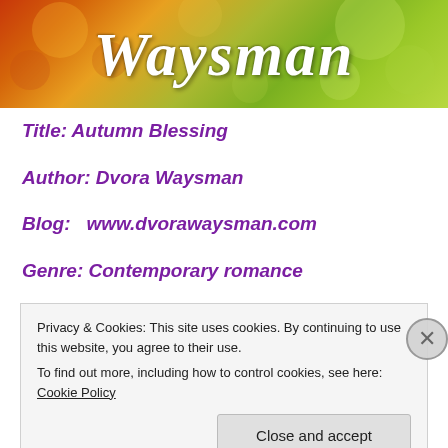[Figure (illustration): Blog banner header with colorful autumn bokeh background in reds, oranges, yellows and greens, with cursive italic white text reading 'Waysman']
Title: Autumn Blessing
Author: Dvora Waysman
Blog:   www.dvorawaysman.com
Genre: Contemporary romance
Privacy & Cookies: This site uses cookies. By continuing to use this website, you agree to their use.
To find out more, including how to control cookies, see here: Cookie Policy